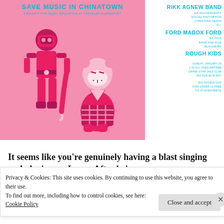[Figure (illustration): Event poster for 'Save Music in Chinatown' benefit concert for music education at Castelar Elementary. Pink background with two illustrated figures — one in a pink superhero/robot suit and one in a bear/samurai costume. Title in cyan text at top.]
RIKK AGNEW BAND
EX-ADOLESCENTS
SOCIAL DISTORTION
CHRISTIAN DEATH
D.I.

FORD MADOX FORD

EX-GILS
RANK AND FILE
BLACKBIRD

ROUGH KIDS

SUNDAY, JANUARY 29
2:00 ALL-AGES MATINEE
GRAND STAR JAZZ CLUB
943 SUN MON WAY

$12 ADV/$15 DOS
KIDS UNDER 12 FREE
TIX AT EVENTBRITE
It seems like you’re genuinely having a blast singing and playing on Learn. After being an
Privacy & Cookies: This site uses cookies. By continuing to use this website, you agree to their use.
To find out more, including how to control cookies, see here:
Cookie Policy
Close and accept